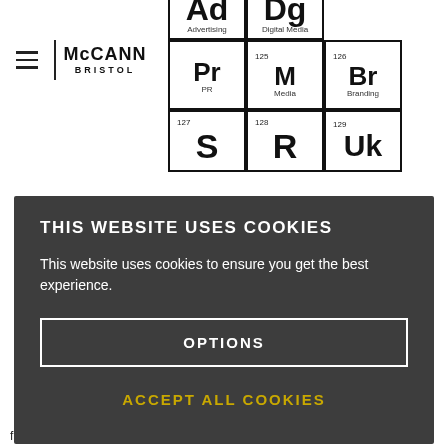[Figure (screenshot): McCann Bristol website header with hamburger menu, McCann Bristol logo, and a periodic table-style graphic showing advertising services: Ad (Advertising), Dg (Digital Media), Pr (PR), M (Media), Br (Branding), S, R, Uk with element numbers 125-129]
THIS WEBSITE USES COOKIES
This website uses cookies to ensure you get the best experience.
OPTIONS
ACCEPT ALL COOKIES
fully joined up, so your brand always circle. Talks to